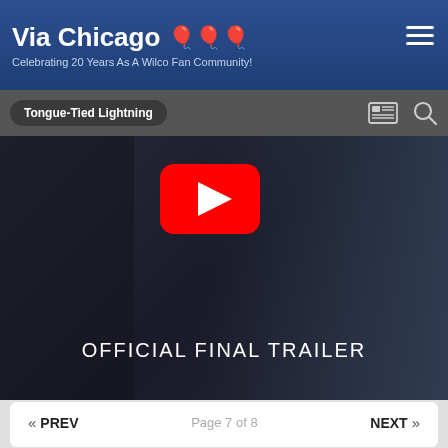Via Chicago — Celebrating 20 Years As A Wilco Fan Community!
Tongue-Tied Lightning
[Figure (screenshot): YouTube video thumbnail showing a boy looking down, with a red YouTube play button overlay and text 'OFFICIAL FINAL TRAILER']
Jan 1  Beltmann locked this topic
« PREV  Page 7 of 8  NEXT »